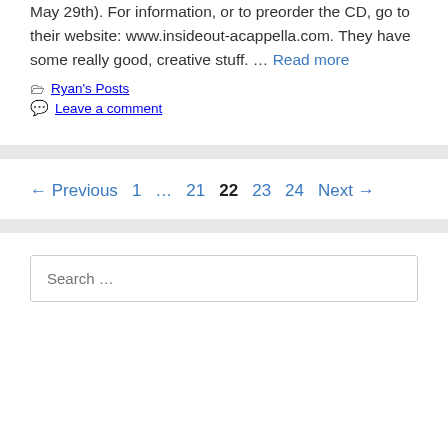May 29th). For information, or to preorder the CD, go to their website: www.insideout-acappella.com. They have some really good, creative stuff. … Read more
Categories: Ryan's Posts
Leave a comment
← Previous  1  …  21  22  23  24  Next →
Search …